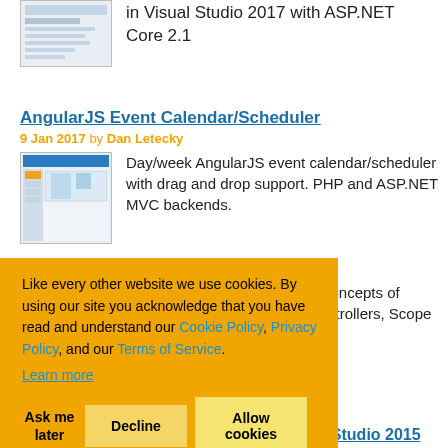[Figure (screenshot): Thumbnail screenshot of a Visual Studio article]
in Visual Studio 2017 with ASP.NET Core 2.1
AngularJS Event Calendar/Scheduler
9 Jan 2017 by Dan Letecky
[Figure (screenshot): Thumbnail screenshot of AngularJS Event Calendar/Scheduler article]
Day/week AngularJS event calendar/scheduler with drag and drop support. PHP and ASP.NET MVC backends.
Like every other website we use cookies. By using our site you acknowledge that you have read and understand our Cookie Policy, Privacy Policy, and our Terms of Service. Learn more
Ask me later   Decline   Allow cookies
ic concepts of Controllers, Scope and
Migrating to Bower and Gulp with Visual Studio 2015